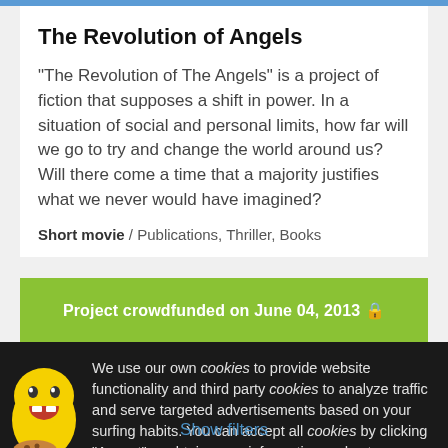The Revolution of Angels
"The Revolution of The Angels" is a project of fiction that supposes a shift in power. In a situation of social and personal limits, how far will we go to try and change the world around us? Will there come a time that a majority justifies what we never would have imagined?
Short movie / Publications, Thriller, Books
Project crowdfunded on June 04, 2013 🔒
We use our own cookies to provide website functionality and third party cookies to analyze traffic and serve targeted advertisements based on your surfing habits. You can accept all cookies by clicking "Accept" or obtain more information and set your preferences here.
Accept
Show filters